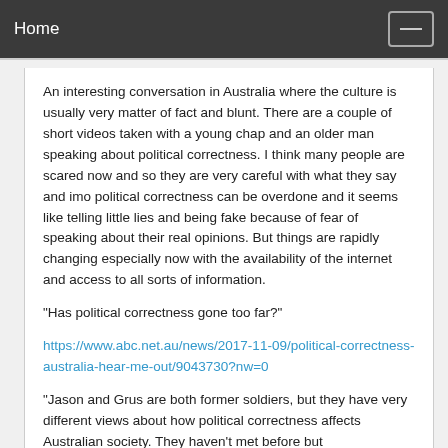Home
An interesting conversation in Australia where the culture is usually very matter of fact and blunt. There are a couple of short videos taken with a young chap and an older man speaking about political correctness. I think many people are scared now and so they are very careful with what they say and imo political correctness can be overdone and it seems like telling little lies and being fake because of fear of speaking about their real opinions. But things are rapidly changing especially now with the availability of the internet and access to all sorts of information.
"Has political correctness gone too far?"
https://www.abc.net.au/news/2017-11-09/political-correctness-australia-hear-me-out/9043730?nw=0
"Jason and Grus are both former soldiers, but they have very different views about how political correctness affects Australian society. They haven't met before but